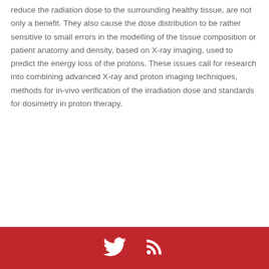reduce the radiation dose to the surrounding healthy tissue, are not only a benefit. They also cause the dose distribution to be rather sensitive to small errors in the modelling of the tissue composition or patient anatomy and density, based on X-ray imaging, used to predict the energy loss of the protons. These issues call for research into combining advanced X-ray and proton imaging techniques, methods for in-vivo verification of the irradiation dose and standards for dosimetry in proton therapy.
[Twitter icon] [RSS icon]